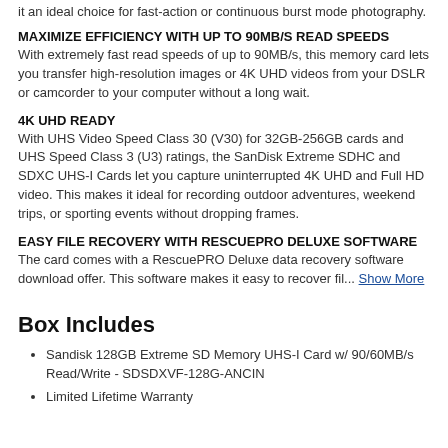it an ideal choice for fast-action or continuous burst mode photography.
MAXIMIZE EFFICIENCY WITH UP TO 90MB/S READ SPEEDS
With extremely fast read speeds of up to 90MB/s, this memory card lets you transfer high-resolution images or 4K UHD videos from your DSLR or camcorder to your computer without a long wait.
4K UHD READY
With UHS Video Speed Class 30 (V30) for 32GB-256GB cards and UHS Speed Class 3 (U3) ratings, the SanDisk Extreme SDHC and SDXC UHS-I Cards let you capture uninterrupted 4K UHD and Full HD video. This makes it ideal for recording outdoor adventures, weekend trips, or sporting events without dropping frames.
EASY FILE RECOVERY WITH RESCUEPRO DELUXE SOFTWARE
The card comes with a RescuePRO Deluxe data recovery software download offer. This software makes it easy to recover fil... Show More
Box Includes
Sandisk 128GB Extreme SD Memory UHS-I Card w/ 90/60MB/s Read/Write - SDSDXVF-128G-ANCIN
Limited Lifetime Warranty